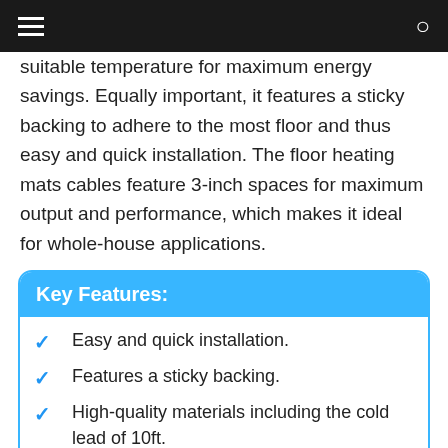suitable temperature for maximum energy savings. Equally important, it features a sticky backing to adhere to the most floor and thus easy and quick installation. The floor heating mats cables feature 3-inch spaces for maximum output and performance, which makes it ideal for whole-house applications.
Key Features:
Easy and quick installation.
Features a sticky backing.
High-quality materials including the cold lead of 10ft.